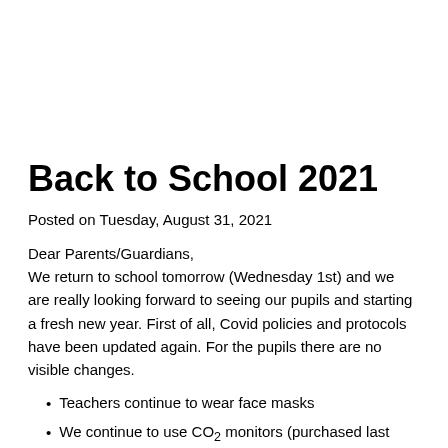Back to School 2021
Posted on Tuesday, August 31, 2021
Dear Parents/Guardians,
We return to school tomorrow (Wednesday 1st) and we are really looking forward to seeing our pupils and starting a fresh new year. First of all, Covid policies and protocols have been updated again. For the pupils there are no visible changes.
Teachers continue to wear face masks
We continue to use CO2 monitors (purchased last March) to help us judge the air quality in the room and ventilate when